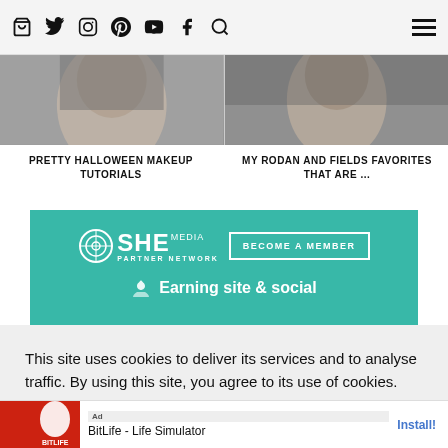Navigation bar with icons: bag, twitter, instagram, pinterest, youtube, facebook, search, hamburger menu
[Figure (photo): Two article thumbnail images side by side - left shows a person with Halloween makeup, right shows a person with cat eye makeup]
PRETTY HALLOWEEN MAKEUP TUTORIALS
MY RODAN AND FIELDS FAVORITES THAT ARE ...
[Figure (infographic): SHE Media Partner Network banner in teal/green color with BECOME A MEMBER button and text 'Earning site & social']
This site uses cookies to deliver its services and to analyse traffic. By using this site, you agree to its use of cookies. Learn more
[Figure (other): OK button - black rectangle with white OK text]
[Figure (other): Advertisement banner for BitLife - Life Simulator with Install! link]